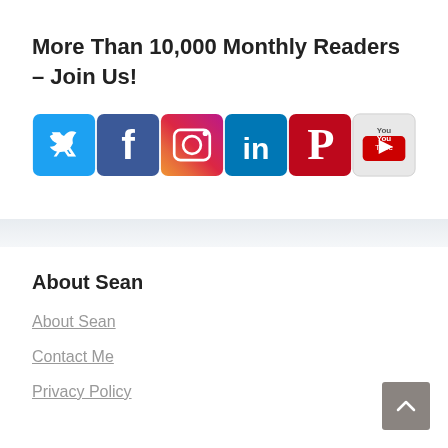More Than 10,000 Monthly Readers – Join Us!
[Figure (infographic): Row of social media icon buttons: Twitter (blue bird), Facebook (blue f), Instagram (camera), LinkedIn (blue in), Pinterest (red P), YouTube (You Tube logo)]
About Sean
About Sean
Contact Me
Privacy Policy